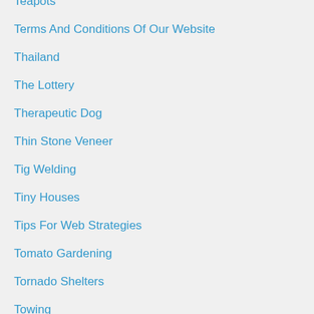Teapots
Terms And Conditions Of Our Website
Thailand
The Lottery
Therapeutic Dog
Thin Stone Veneer
Tig Welding
Tiny Houses
Tips For Web Strategies
Tomato Gardening
Tornado Shelters
Towing
Trash Removal
Travel
Travel Destinations